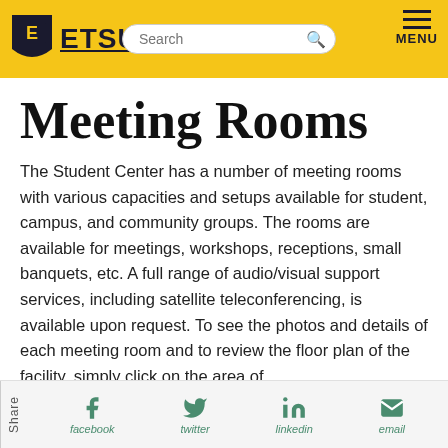[Figure (logo): ETSU university logo with shield and text, inside a yellow navigation header with search bar and menu icon]
Meeting Rooms
The Student Center has a number of meeting rooms with various capacities and setups available for student, campus, and community groups. The rooms are available for meetings, workshops, receptions, small banquets, etc. A full range of audio/visual support services, including satellite teleconferencing, is available upon request. To see the photos and details of each meeting room and to review the floor plan of the facility, simply click on the area of
Share  facebook  twitter  linkedin  email